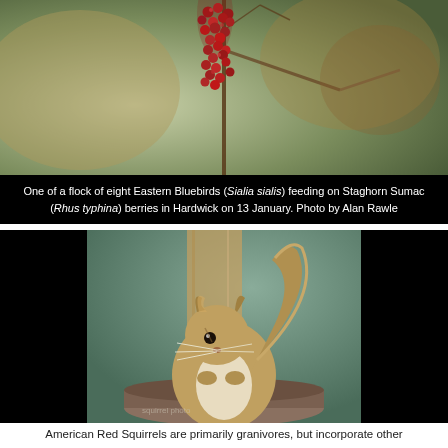[Figure (photo): Close-up photo of red berries (Staghorn Sumac / Rhus typhina) on branches against a blurred brownish-green background]
One of a flock of eight Eastern Bluebirds (Sialia sialis) feeding on Staghorn Sumac (Rhus typhina) berries in Hardwick on 13 January. Photo by Alan Rawle
[Figure (photo): Photo of an American Red Squirrel sitting at a bird feeder, looking at the camera, with fur tufts on ears and bushy tail visible, against a blurred background. Black border on sides.]
American Red Squirrels are primarily granivores, but incorporate other